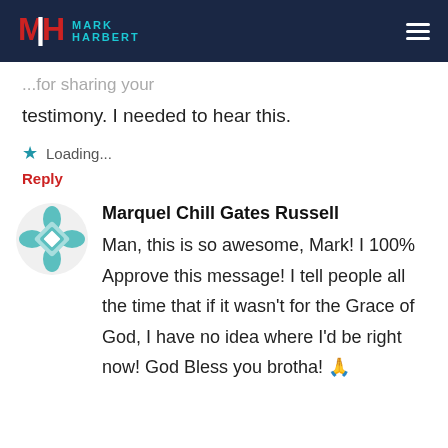MARK HARBERT
testimony. I needed to hear this.
Loading...
Reply
Marquel Chill Gates Russell
Man, this is so awesome, Mark! I 100% Approve this message! I tell people all the time that if it wasn't for the Grace of God, I have no idea where I'd be right now! God Bless you brotha! 🙏